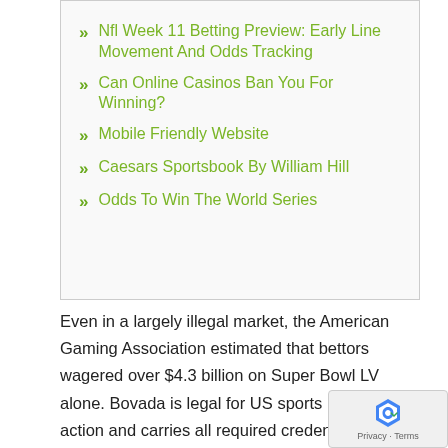Nfl Week 11 Betting Preview: Early Line Movement And Odds Tracking
Can Online Casinos Ban You For Winning?
Mobile Friendly Website
Caesars Sportsbook By William Hill
Odds To Win The World Series
Even in a largely illegal market, the American Gaming Association estimated that bettors wagered over $4.3 billion on Super Bowl LV alone. Bovada is legal for US sports betting action and carries all required credentials to operate legitimately within the governing jurisdiction of Costa Rica. Launched in 2011, Bovada remains the #1 o sportsbook in the US sports betting market. To learn m about the legality of sports betting in your area see our